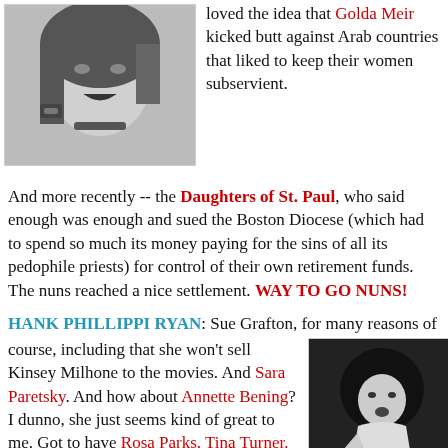[Figure (photo): Black and white photo of a woman (Madonna-style) with jewelry and dramatic makeup]
loved the idea that Golda Meir kicked butt against Arab countries that liked to keep their women subservient.
And more recently -- the Daughters of St. Paul, who said enough was enough and sued the Boston Diocese (which had to spend so much its money paying for the sins of all its pedophile priests) for control of their own retirement funds. The nuns reached a nice settlement. WAY TO GO NUNS!
HANK PHILLIPPI RYAN: Sue Grafton, for many reasons of course, including that she won't sell Kinsey Milhone to the movies. And Sara Paretsky. And how about Annette Bening? I dunno, she just seems kind of great to me. Got to have Rosa Parks. Tina Turner. Geraldine Ferraro. OH, definitely, Myra Kraft, who hung out with her husbands football team and showed them how to open their hearts.
[Figure (photo): Black and white photo of a woman singing into a microphone with afro hair]